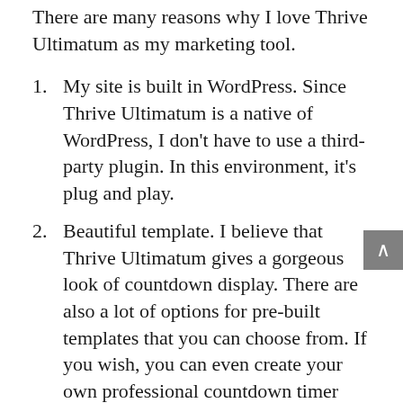There are many reasons why I love Thrive Ultimatum as my marketing tool.
My site is built in WordPress. Since Thrive Ultimatum is a native of WordPress, I don't have to use a third-party plugin. In this environment, it's plug and play.
Beautiful template. I believe that Thrive Ultimatum gives a gorgeous look of countdown display. There are also a lot of options for pre-built templates that you can choose from. If you wish, you can even create your own professional countdown timer within a few clicks.
Easy-use. Using Thrive Ultimatum gives the benefit of an easy use plugin. You can easily